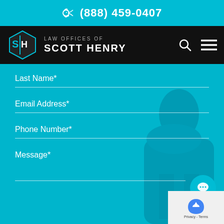(888) 459-0407
[Figure (logo): Law Offices of Scott Henry logo with hexagon SH emblem, navigation bar with search and menu icons]
Last Name*
Email Address*
Phone Number*
Message*
Privacy - Terms